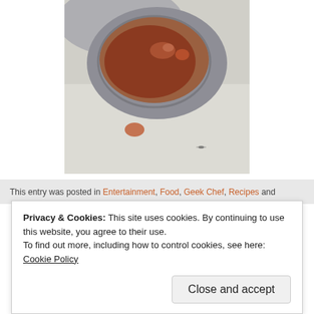[Figure (photo): A spoon with reddish-brown liquid/sauce on a white surface, with a small drop fallen below]
This entry was posted in Entertainment, Food, Geek Chef, Recipes and
Privacy & Cookies: This site uses cookies. By continuing to use this website, you agree to their use.
To find out more, including how to control cookies, see here: Cookie Policy
Close and accept